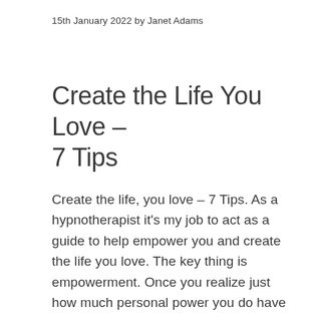15th January 2022 by Janet Adams
Create the Life You Love – 7 Tips
Create the life, you love – 7 Tips. As a hypnotherapist it's my job to act as a guide to help empower you and create the life you love. The key thing is empowerment. Once you realize just how much personal power you do have over your mood, your perceptions and your emotions you're ready to improve what you already have.